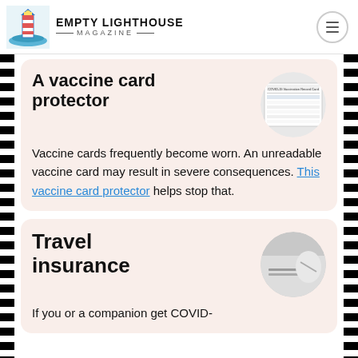EMPTY LIGHTHOUSE MAGAZINE
A vaccine card protector
[Figure (photo): A COVID-19 vaccination record card image shown in a circular frame]
Vaccine cards frequently become worn. An unreadable vaccine card may result in severe consequences. This vaccine card protector helps stop that.
Travel insurance
[Figure (photo): A travel/insurance related photo shown in a circular frame]
If you or a companion get COVID-